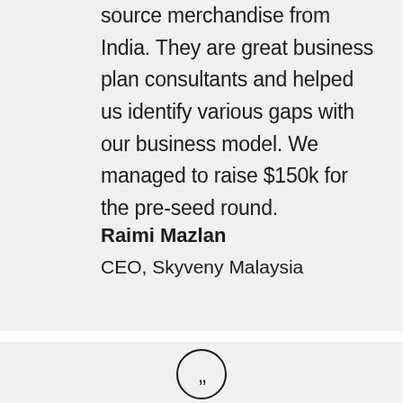source merchandise from India. They are great business plan consultants and helped us identify various gaps with our business model. We managed to raise $150k for the pre-seed round.
Raimi Mazlan
CEO, Skyveny Malaysia
[Figure (illustration): Closing double quotation mark icon inside a circle]